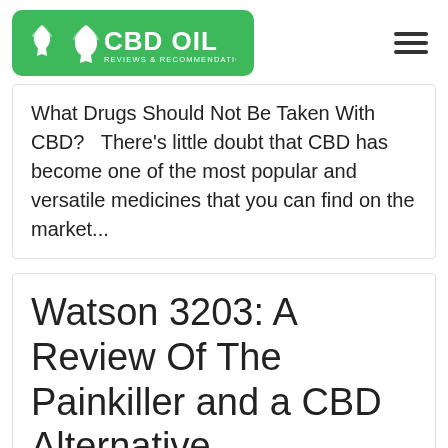[Figure (logo): CBD Oil Reviews & Recommendations logo — green rounded rectangle with cannabis leaf icon and text 'CBD OIL REVIEWS & RECOMMENDATIONS']
What Drugs Should Not Be Taken With CBD?   There's little doubt that CBD has become one of the most popular and versatile medicines that you can find on the market...
Watson 3203: A Review Of The Painkiller and a CBD Alternative